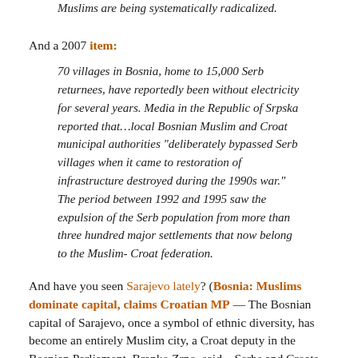Muslims are being systematically radicalized.
And a 2007 item:
70 villages in Bosnia, home to 15,000 Serb returnees, have reportedly been without electricity for several years. Media in the Republic of Srpska reported that…local Bosnian Muslim and Croat municipal authorities "deliberately bypassed Serb villages when it came to restoration of infrastructure destroyed during the 1990s war." The period between 1992 and 1995 saw the expulsion of the Serb population from more than three hundred major settlements that now belong to the Muslim-Croat federation.
And have you seen Sarajevo lately? (Bosnia: Muslims dominate capital, claims Croatian MP — The Bosnian capital of Sarajevo, once a symbol of ethnic diversity, has become an entirely Muslim city, a Croat deputy in the Bosnian Parliament, Branko Zrno, said…Serbs and Croats in Sarajevo have no institutional protection, and continue to leave the capital…Serbs claim that